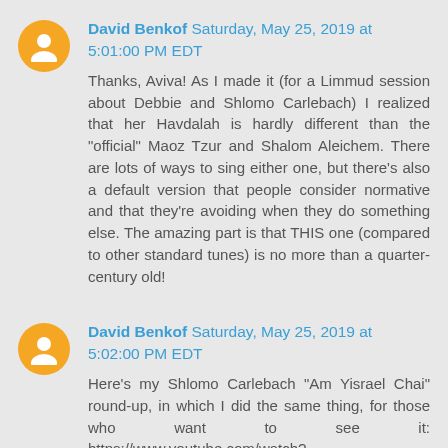David Benkof Saturday, May 25, 2019 at 5:01:00 PM EDT
Thanks, Aviva! As I made it (for a Limmud session about Debbie and Shlomo Carlebach) I realized that her Havdalah is hardly different than the "official" Maoz Tzur and Shalom Aleichem. There are lots of ways to sing either one, but there's also a default version that people consider normative and that they're avoiding when they do something else. The amazing part is that THIS one (compared to other standard tunes) is no more than a quarter-century old!
David Benkof Saturday, May 25, 2019 at 5:02:00 PM EDT
Here's my Shlomo Carlebach "Am Yisrael Chai" round-up, in which I did the same thing, for those who want to see it: https://www.youtube.com/watch?v=3bx4Vs4fLTs&feature=youtu.be&fbclid=IwAR0